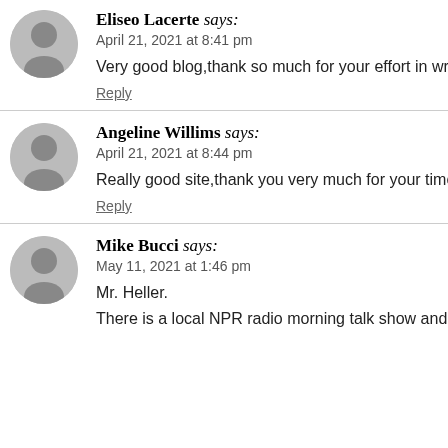Eliseo Lacerte says: April 21, 2021 at 8:41 pm
Very good blog,thank so much for your effort in writing
Reply
Angeline Willims says: April 21, 2021 at 8:44 pm
Really good site,thank you very much for your time in
Reply
Mike Bucci says: May 11, 2021 at 1:46 pm
Mr. Heller. There is a local NPR radio morning talk show and MM